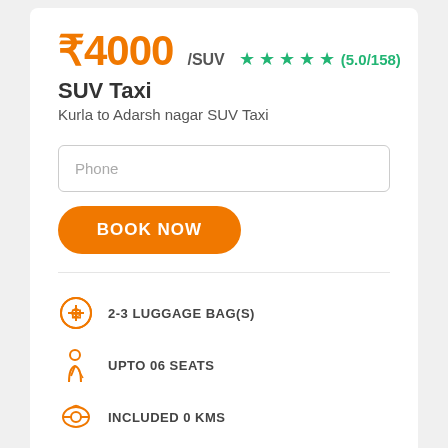₹4000/SUV ★★★★★ (5.0/158)
SUV Taxi
Kurla to Adarsh nagar SUV Taxi
Phone
BOOK NOW
2-3 LUGGAGE BAG(S)
UPTO 06 SEATS
INCLUDED 0 KMS
AFTER EXTRA ₹12.0/KM
FREE CANCELLATION*
PROPERLY SANITIZED TAXI